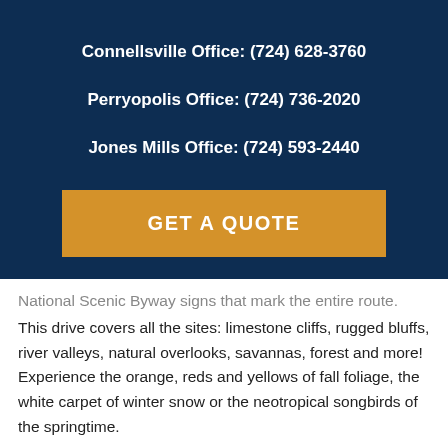Connellsville Office: (724) 628-3760
Perryopolis Office: (724) 736-2020
Jones Mills Office: (724) 593-2440
GET A QUOTE
National Scenic Byway signs that mark the entire route. This drive covers all the sites: limestone cliffs, rugged bluffs, river valleys, natural overlooks, savannas, forest and more! Experience the orange, reds and yellows of fall foliage, the white carpet of winter snow or the neotropical songbirds of the springtime.